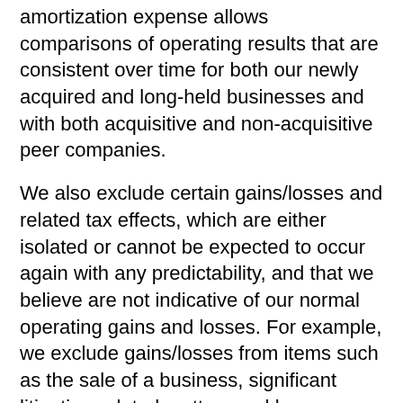amortization expense allows comparisons of operating results that are consistent over time for both our newly acquired and long-held businesses and with both acquisitive and non-acquisitive peer companies.
We also exclude certain gains/losses and related tax effects, which are either isolated or cannot be expected to occur again with any predictability, and that we believe are not indicative of our normal operating gains and losses. For example, we exclude gains/losses from items such as the sale of a business, significant litigation-related matters and lump-sum pension plan settlements. We exclude the results of discontinued operations.
We exclude goodwill impairment charges. We exclude these costs because we do not believe they are indicative of our normal operating costs.
Due to the significance of recently sold businesses and to